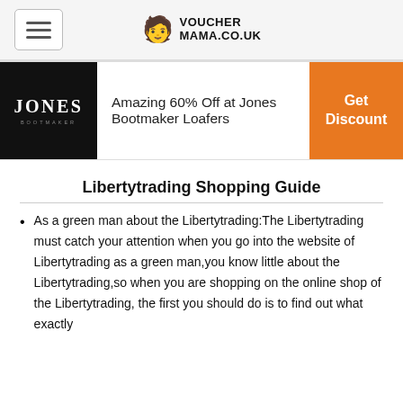VoucherMama.co.uk
[Figure (logo): Jones Bootmaker black logo]
Amazing 60% Off at Jones Bootmaker Loafers
Get Discount
Libertytrading Shopping Guide
As a green man about the Libertytrading:The Libertytrading must catch your attention when you go into the website of Libertytrading as a green man,you know little about the Libertytrading,so when you are shopping on the online shop of the Libertytrading, the first you should do is to find out what exactly